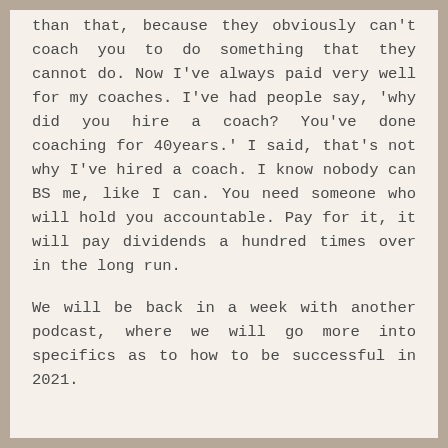than that, because they obviously can't coach you to do something that they cannot do. Now I've always paid very well for my coaches. I've had people say, 'why did you hire a coach? You've done coaching for 40years.' I said, that's not why I've hired a coach. I know nobody can BS me, like I can. You need someone who will hold you accountable. Pay for it, it will pay dividends a hundred times over in the long run.
We will be back in a week with another podcast, where we will go more into specifics as to how to be successful in 2021.
Traditional Chinese Medicine (TCM).